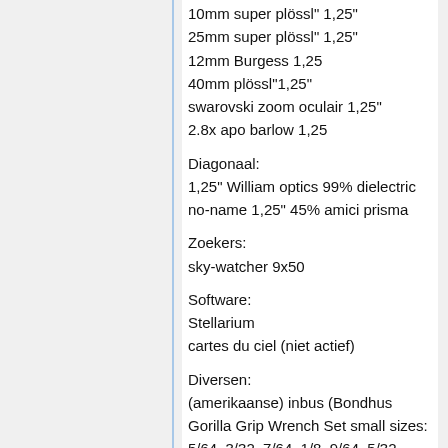10mm super plössl" 1,25"
25mm super plössl" 1,25"
12mm Burgess 1,25
40mm plössl"1,25"
swarovski zoom oculair 1,25"
2.8x apo barlow 1,25
Diagonaal:
1,25" William optics 99% dielectric
no-name 1,25" 45% amici prisma
Zoekers:
sky-watcher 9x50
Software:
Stellarium
cartes du ciel (niet actief)
Diversen:
(amerikaanse) inbus (Bondhus Gorilla Grip Wrench Set small sizes: 5/64, 3/32, 7/64, 1/8, 9/64, 5/32, 3/16, 7/32, 1/4)
wat boeken en kaarten